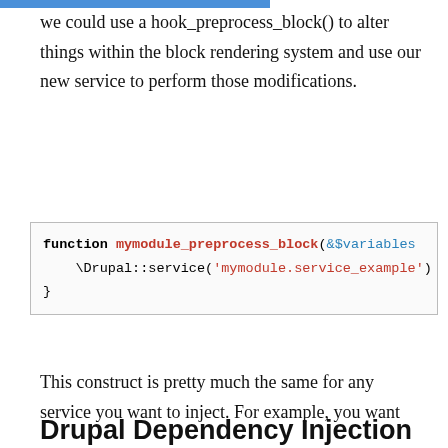we could use a hook_preprocess_block() to alter things within the block rendering system and use our new service to perform those modifications.
[Figure (screenshot): Code block showing PHP function: function mymodule_preprocess_block(&$variables) { \Drupal::service('mymodule.service_example') }]
This construct is pretty much the same for any service you want to inject. For example, you want to use the path_alias.manager service you just need to add the service to the modules services.yml file and then update the class to accept that new parameter. Once the service is created you can use the object just like normal.
Drupal Dependency Injection